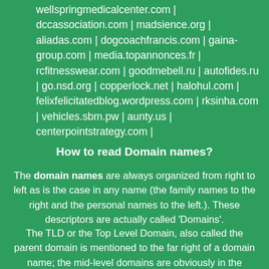wellspringmedicalcenter.com | dccassociation.com | madsience.org | aliadas.com | dogcoachfrancis.com | gaina-group.com | media.topannonces.fr | rcfitnesswear.com | goodmebell.ru | autofides.ru | go.nsd.org | copperlock.net | halohul.com | felixfelicitatedblog.wordpress.com | rksinha.com | vehicles.sbm.pw | aunty.us | centerpointstrategy.com |
How to read Domain names?
The domain names are always organized from right to left as is the case in any name (the family names to the right and the personal names to the left.). These descriptors are actually called 'Domains'.
The TLD or the Top Level Domain, also called the parent domain is mentioned to the far right of a domain name; the mid-level domains are obviously in the middle while the machine name is to the far left. It